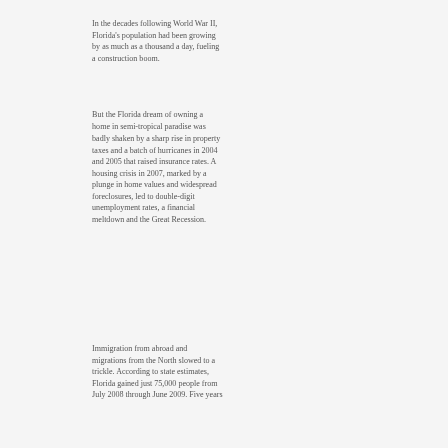In the decades following World War II, Florida's population had been growing by as much as a thousand a day, fueling a construction boom.
But the Florida dream of owning a home in semi-tropical paradise was badly shaken by a sharp rise in property taxes and a batch of hurricanes in 2004 and 2005 that raised insurance rates. A housing crisis in 2007, marked by a plunge in home values and widespread foreclosures, led to double-digit unemployment rates, a financial meltdown and the Great Recession.
Immigration from abroad and migrations from the North slowed to a trickle. According to state estimates, Florida gained just 75,000 people from July 2008 through June 2009. Five years